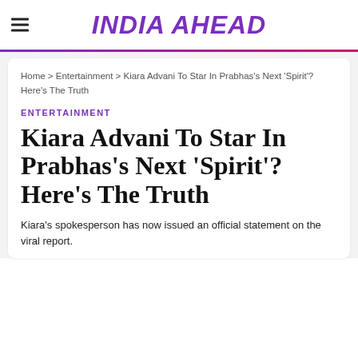INDIA AHEAD
Home > Entertainment > Kiara Advani To Star In Prabhas's Next 'Spirit'? Here's The Truth
ENTERTAINMENT
Kiara Advani To Star In Prabhas's Next 'Spirit'? Here's The Truth
Kiara's spokesperson has now issued an official statement on the viral report.